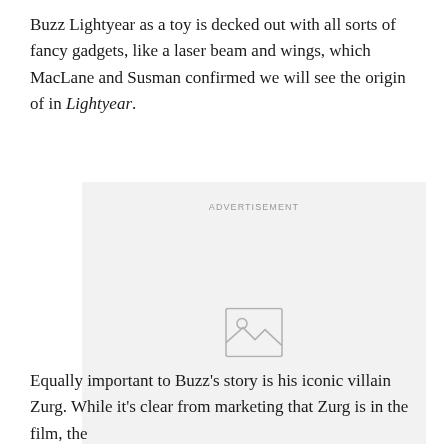Buzz Lightyear as a toy is decked out with all sorts of fancy gadgets, like a laser beam and wings, which MacLane and Susman confirmed we will see the origin of in Lightyear.
[Figure (other): Advertisement placeholder with image icon and 'ADVERTISEMENT' label]
Equally important to Buzz's story is his iconic villain Zurg. While it's clear from marketing that Zurg is in the film, the